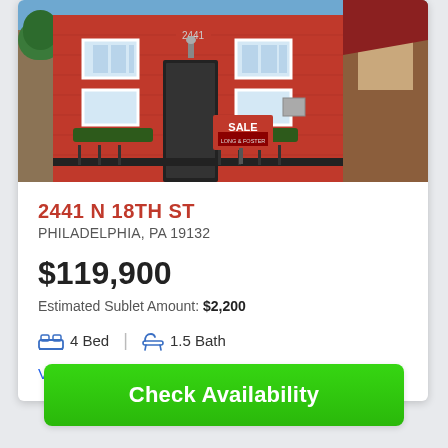[Figure (photo): Exterior photo of a red brick rowhouse at 2441 N 18th St, Philadelphia, with a For Sale sign from Long & Foster visible in front. Multi-story building with white-trimmed windows and a dark front door.]
2441 N 18TH ST
PHILADELPHIA, PA 19132
$119,900
Estimated Sublet Amount: $2,200
4 Bed   1.5 Bath
View All 2441 N 18TH ST Units
Check Availability